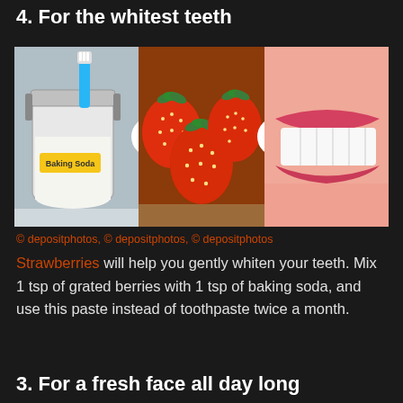4. For the whitest teeth
[Figure (infographic): Composite image of three photos side by side: a jar of baking soda with a toothbrush, a pile of red strawberries, and a close-up of a woman's white teeth/smile. Between the first and second image is a white circle with a red plus sign; between the second and third is a white circle with a red equals sign.]
© depositphotos, © depositphotos, © depositphotos
Strawberries will help you gently whiten your teeth. Mix 1 tsp of grated berries with 1 tsp of baking soda, and use this paste instead of toothpaste twice a month.
3. For a fresh face all day long